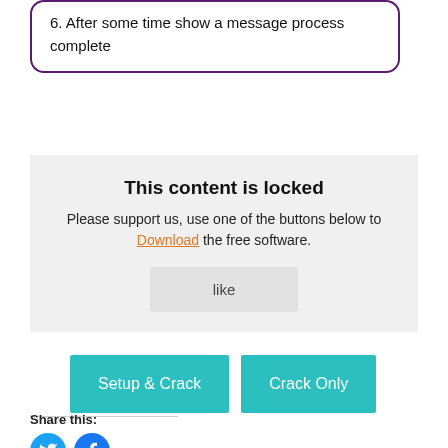6. After some time show a message process complete
This content is locked
Please support us, use one of the buttons below to Download the free software.
like
[Figure (infographic): Two teal download buttons: 'Setup & Crack' and 'Crack Only']
Share this:
[Figure (infographic): Twitter and Facebook social share icons (blue circles with bird and f logos)]